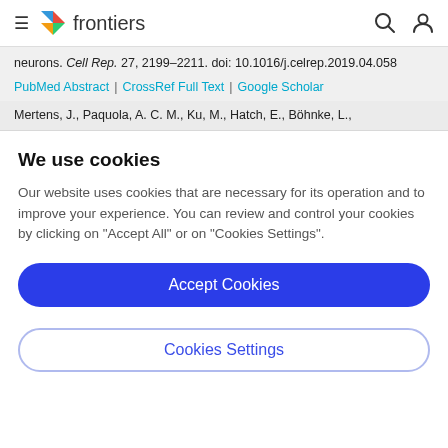frontiers
neurons. Cell Rep. 27, 2199–2211. doi: 10.1016/j.celrep.2019.04.058
PubMed Abstract | CrossRef Full Text | Google Scholar
Mertens, J., Paquola, A. C. M., Ku, M., Hatch, E., Böhnke, L.,
We use cookies
Our website uses cookies that are necessary for its operation and to improve your experience. You can review and control your cookies by clicking on "Accept All" or on "Cookies Settings".
Accept Cookies
Cookies Settings